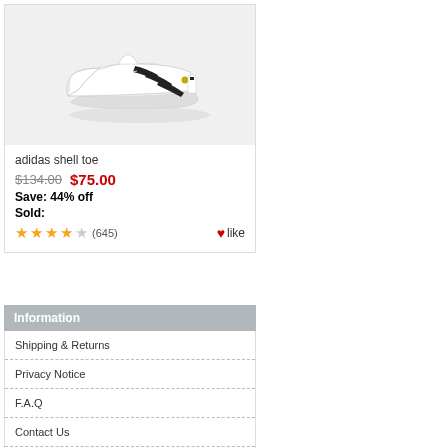[Figure (photo): White Adidas shell toe sneaker with black stripes and gold logo on grey background]
adidas shell toe
$134.00  $75.00
Save: 44% off
Sold:
★★★★☆ (645)   ❤like
Information
Shipping & Returns
Privacy Notice
F.A.Q
Contact Us
Site Map